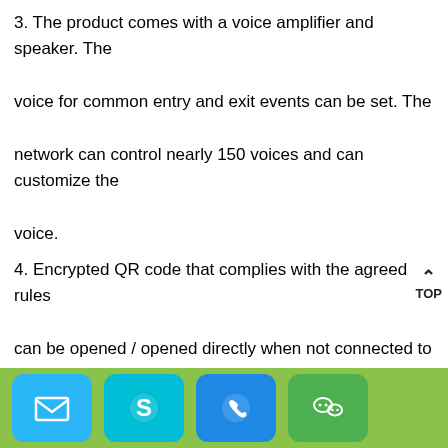3. The product comes with a voice amplifier and speaker. The voice for common entry and exit events can be set. The network can control nearly 150 voices and can customize the voice.
4. Encrypted QR code that complies with the agreed rules can be opened / opened directly when not connected to the Internet.
The agreed rules mainly include:
(1)the start time and end time of the two-dimensional code